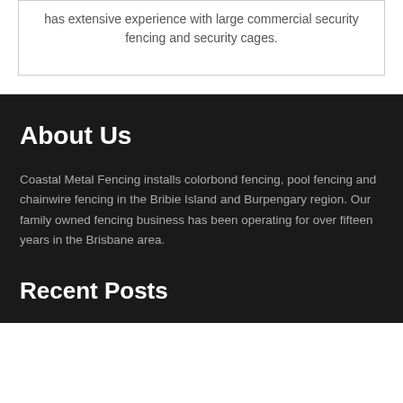has extensive experience with large commercial security fencing and security cages.
About Us
Coastal Metal Fencing installs colorbond fencing, pool fencing and chainwire fencing in the Bribie Island and Burpengary region. Our family owned fencing business has been operating for over fifteen years in the Brisbane area.
Recent Posts